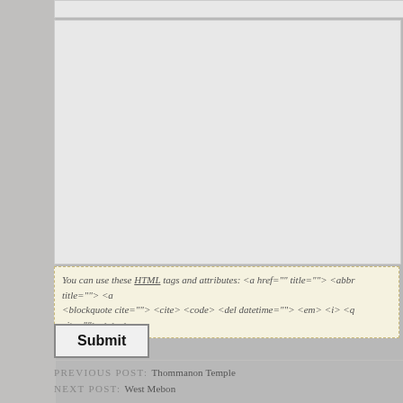You can use these HTML tags and attributes: <a href="" title=""> <abbr title=""> <a... <blockquote cite=""> <cite> <code> <del datetime=""> <em> <i> <q cite=""> <s> <...
Submit
PREVIOUS POST: Thommanon Temple
NEXT POST: West Mebon